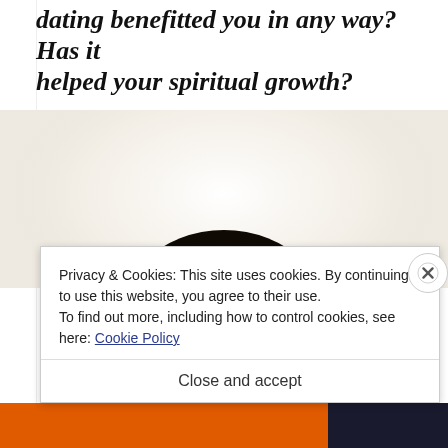dating benefitted you in any way? Has it helped your spiritual growth?
[Figure (photo): Silhouette/back of a person's head against a bright white/light background]
Privacy & Cookies: This site uses cookies. By continuing to use this website, you agree to their use.
To find out more, including how to control cookies, see here: Cookie Policy
Close and accept